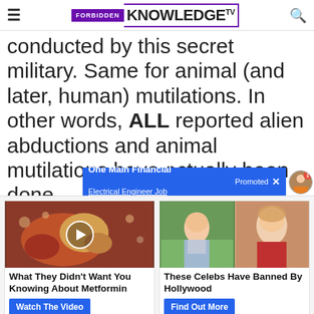Forbidden Knowledge TV
conducted by this secret military. Same for animal (and later, human) mutilations. In other words, ALL reported alien abductions and animal mutilations have actually been done
One Main Financial Electrical Engineer Job — Promoted ×
[Figure (photo): Thumbnail image with play button overlay showing medical/biological imagery]
[Figure (photo): Two thumbnail photos side by side: a woman outdoors and a blonde woman in red]
What They Didn't Want You Knowing About Metformin
These Celebs Have Banned By Hollywood
Watch The Video
Find Out More